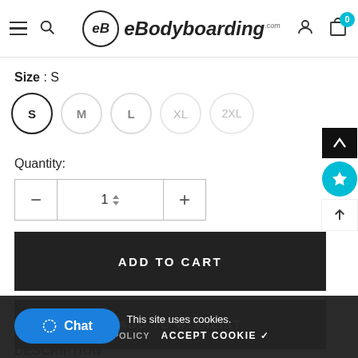eBodyboarding.com – navigation header with menu, search, logo, user icon, cart (0)
Size : S
S  M  L  XL  2XL
Quantity:
1
ADD TO CART
♡ ADD TO WISHLIST
This site uses cookies.
RACY POLICY   ACCEPT COOKIE ✓
Chat
DESCRIPTION